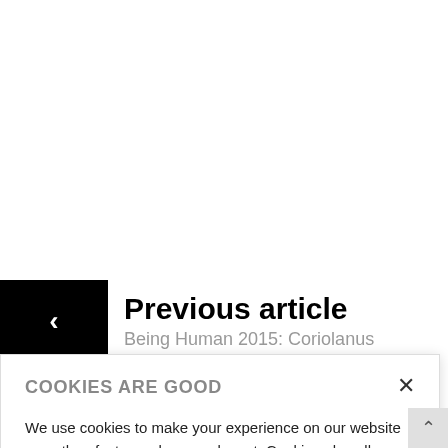Previous article
Being Human 2015: Coriolanus
COOKIES ARE GOOD
We use cookies to make your experience on our website smoother, faster and more relevant. Cookies also allow us to see what people do when they are on our site and help us create content and tailor our marketing to you. So go on, click 'yes to all cookies'. Review our Website Privacy Policy
Yes to all cookies
Let me choose